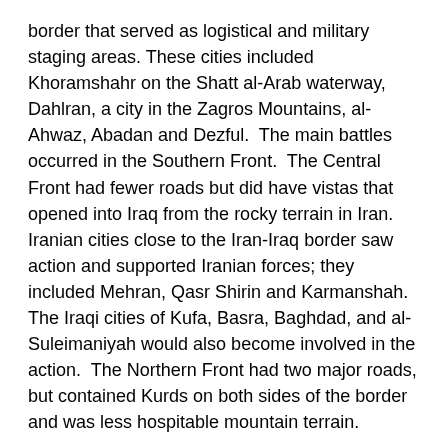border that served as logistical and military staging areas. These cities included Khoramshahr on the Shatt al-Arab waterway, Dahlran, a city in the Zagros Mountains, al-Ahwaz, Abadan and Dezful. The main battles occurred in the Southern Front. The Central Front had fewer roads but did have vistas that opened into Iraq from the rocky terrain in Iran. Iranian cities close to the Iran-Iraq border saw action and supported Iranian forces; they included Mehran, Qasr Shirin and Karmanshah. The Iraqi cities of Kufa, Basra, Baghdad, and al-Suleimaniyah would also become involved in the action. The Northern Front had two major roads, but contained Kurds on both sides of the border and was less hospitable mountain terrain.
Objectives
Iraq's political-military objectives at the onset of the war with Iran included:
Return of the Shatt al-Arab Waterway (known in Iran as the Arvand Rud) as an integral part of Iraq;